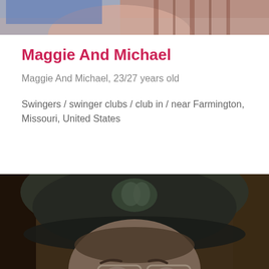[Figure (photo): Partial top photo showing two people, cropped at the top of the page]
Maggie And Michael
Maggie And Michael, 23/27 years old
Swingers / swinger clubs / club in / near Farmington, Missouri, United States
[Figure (photo): Photo of a man wearing a dark baseball cap with logo and glasses, face partially visible from below]